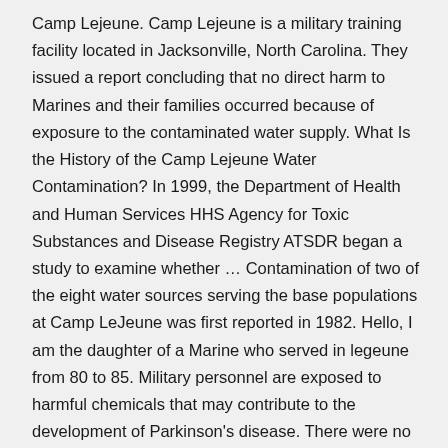Camp Lejeune. Camp Lejeune is a military training facility located in Jacksonville, North Carolina. They issued a report concluding that no direct harm to Marines and their families occurred because of exposure to the contaminated water supply. What Is the History of the Camp Lejeune Water Contamination? In 1999, the Department of Health and Human Services HHS Agency for Toxic Substances and Disease Registry ATSDR began a study to examine whether … Contamination of two of the eight water sources serving the base populations at Camp LeJeune was first reported in 1982. Hello, I am the daughter of a Marine who served in legeune from 80 to 85. Military personnel are exposed to harmful chemicals that may contribute to the development of Parkinson's disease. There were no warnings from the DOD, or any other … While these were prevalent in extraordinary amounts in the groundwater and soil for decades at Lejeune